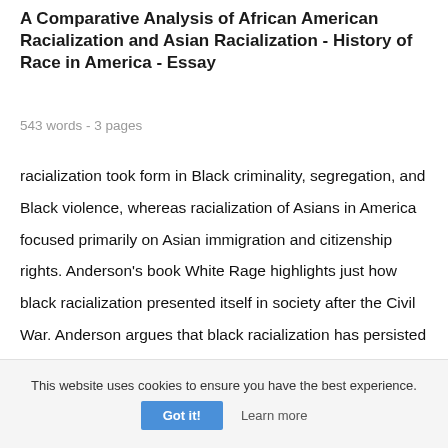A Comparative Analysis of African American Racialization and Asian Racialization - History of Race in America - Essay
543 words - 3 pages
racialization took form in Black criminality, segregation, and Black violence, whereas racialization of Asians in America focused primarily on Asian immigration and citizenship rights. Anderson’s book White Rage highlights just how black racialization presented itself in society after the Civil War. Anderson argues that black racialization has persisted throughout history through something she calls “White
This website uses cookies to ensure you have the best experience.